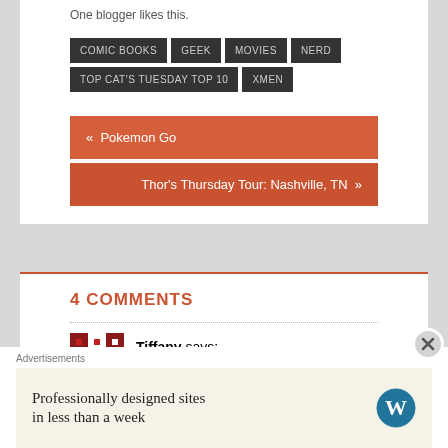One blogger likes this.
COMIC BOOKS
GEEK
MOVIES
NERD
TOP CAT'S TUESDAY TOP 10
XMEN
« Pokemon Go
Thor's Thursday Tour: Nashville, TN »
4 COMMENTS
Tiffany says:
Advertisements
Professionally designed sites in less than a week